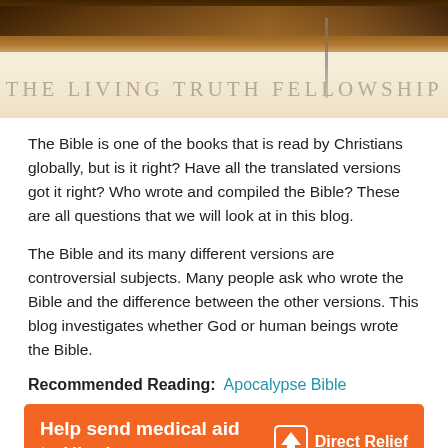[Figure (photo): Banner image with wooden scrolls/sticks at top and text 'THE LIVING TRUTH FELLOWSHIP' overlaid on a parchment-colored background]
The Bible is one of the books that is read by Christians globally, but is it right? Have all the translated versions got it right? Who wrote and compiled the Bible? These are all questions that we will look at in this blog.
The Bible and its many different versions are controversial subjects. Many people ask who wrote the Bible and the difference between the other versions. This blog investigates whether God or human beings wrote the Bible.
Recommended Reading:  Apocalypse Bible
[Figure (infographic): Orange advertisement banner: 'Help send medical aid to Ukraine >>' with Direct Relief logo on the right]